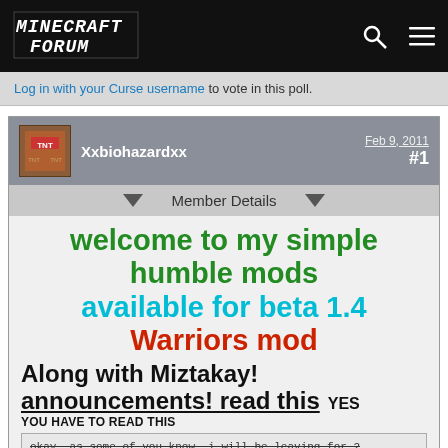Minecraft Forum
Log in with your Curse username to vote in this poll.
Xxbiohazardxx  Feb 9, 2011  #1
Member Details
welcome to my simple humble mods available for beta 1.4 Warriors mod
Along with Miztakay! announcements! read this YES YOU HAVE TO READ THIS
okay, as some of you know, i will be leaving for 2 weeks for vacation, don't worry ill try to code some way during my vacation. Another thing is that v4 for has been delayed and